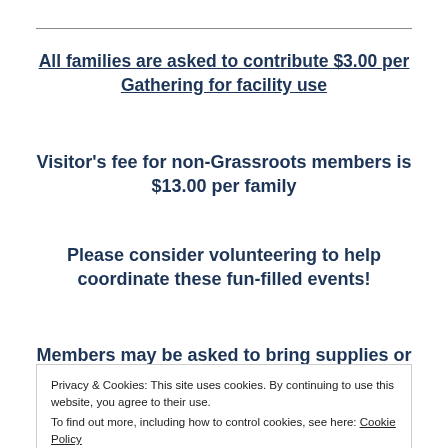All families are asked to contribute $3.00 per Gathering for facility use
Visitor's fee for non-Grassroots members is $13.00 per family
Please consider volunteering to help coordinate these fun-filled events!
Members may be asked to bring supplies or
Privacy & Cookies: This site uses cookies. By continuing to use this website, you agree to their use.
To find out more, including how to control cookies, see here: Cookie Policy
gathering